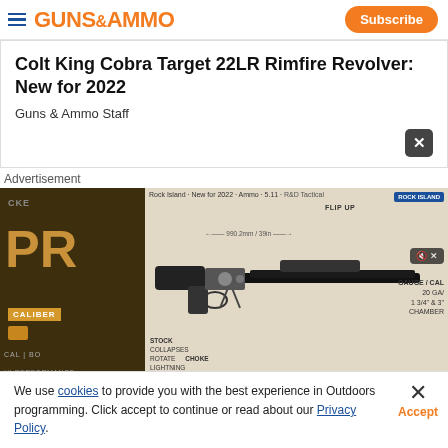GUNS & AMMO — Subscribe
Colt King Cobra Target 22LR Rimfire Revolver: New for 2022
Guns & Ammo Staff
Advertisement
[Figure (screenshot): Video player showing a tactical shotgun infographic with controls showing 00:00 / 03:12, alongside an advertisement image on the left.]
We use cookies to provide you with the best experience in Outdoors programming. Click accept to continue or read about our Privacy Policy.